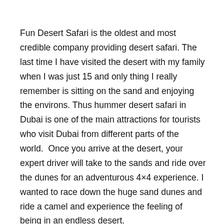Fun Desert Safari is the oldest and most credible company providing desert safari. The last time I have visited the desert with my family when I was just 15 and only thing I really remember is sitting on the sand and enjoying the environs. Thus hummer desert safari in Dubai is one of the main attractions for tourists who visit Dubai from different parts of the world.  Once you arrive at the desert, your expert driver will take to the sands and ride over the dunes for an adventurous 4×4 experience. I wanted to race down the huge sand dunes and ride a camel and experience the feeling of being in an endless desert.
To make your trip unforgettable, we offer a plethora range of tour packages to choose from based on your needs and demands. The most exciting and well-liked activity of Morning Desert Safari in Dubai is the wild bucking drive of